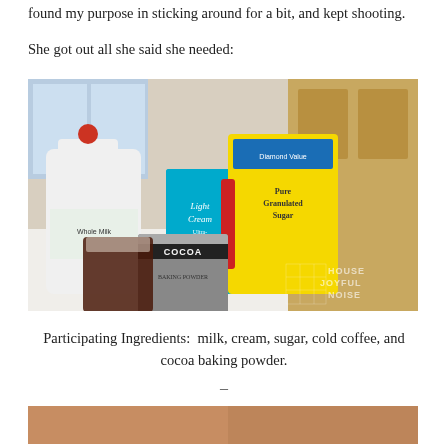found my purpose in sticking around for a bit, and kept shooting.
She got out all she said she needed:
[Figure (photo): Kitchen counter with baking ingredients: a gallon jug of milk, a carton of Light Cream (Ultra-Pasteurized), a bag of Pure Granulated Sugar, a can of Cocoa baking powder, a glass of cold coffee, and a small carton of Whole Milk. Watermark reads HOUSE JOYFUL NOISE.]
Participating Ingredients:  milk, cream, sugar, cold coffee, and cocoa baking powder.
–
[Figure (photo): Partial photo at bottom of page, showing warm-toned image, cropped.]